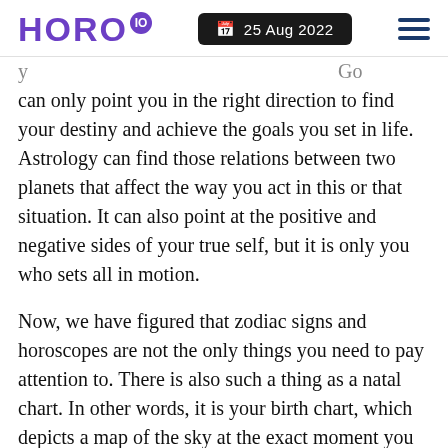HORO IO  25 Aug 2022
can only point you in the right direction to find your destiny and achieve the goals you set in life. Astrology can find those relations between two planets that affect the way you act in this or that situation. It can also point at the positive and negative sides of your true self, but it is only you who sets all in motion.
Now, we have figured that zodiac signs and horoscopes are not the only things you need to pay attention to. There is also such a thing as a natal chart. In other words, it is your birth chart, which depicts a map of the sky at the exact moment you were born. To read it well, you need to get acquainted with the transformations and in particular...